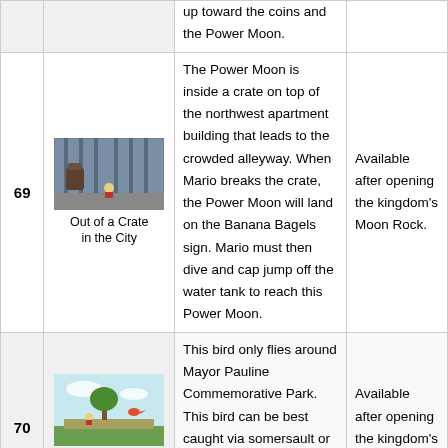| # | Name/Image | Description | Notes |
| --- | --- | --- | --- |
|  | up toward the coins and the Power Moon. |  |  |
| 69 | Out of a Crate in the City | The Power Moon is inside a crate on top of the northwest apartment building that leads to the crowded alleyway. When Mario breaks the crate, the Power Moon will land on the Banana Bagels sign. Mario must then dive and cap jump off the water tank to reach this Power Moon. | Available after opening the kingdom's Moon Rock. |
| 70 | Bird Traveling in the Park | This bird only flies around Mayor Pauline Commemorative Park. This bird can be best caught via somersault or ground pound jump as it flies over the eastern benches. | Available after opening the kingdom's Moon Rock. |
|  |  | There is a scarecrow on the south sidewalk of Dixie Street. |  |